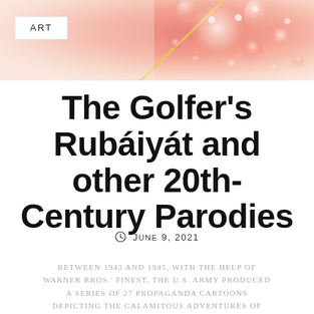[Figure (photo): Abstract close-up photo with colorful bubbles and fluid textures in pink, orange, and coral tones. An 'ART' badge in white is overlaid in the upper left.]
The Golfer's Rubáiyát and other 20th-Century Parodies
🕐  June 9, 2021
Between 1943 and 1945, with the help of Warner Bros.' finest, the U.S. Army produced a series of 27 propaganda cartoons depicting the calamitous adventures of Private Snafu. Who among us does not feel the shadow of fear cast by [...]